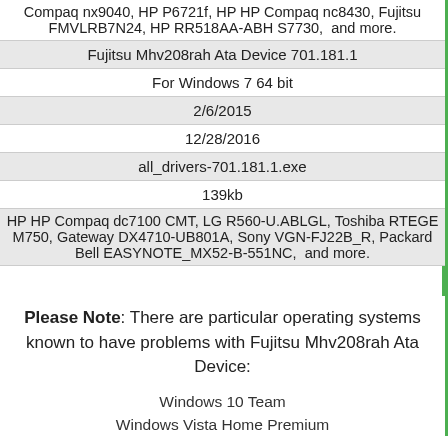| Compaq nx9040, HP P6721f, HP HP Compaq nc8430, Fujitsu FMVLRB7N24, HP RR518AA-ABH S7730,  and more. |
| Fujitsu Mhv208rah Ata Device 701.181.1 |
| For Windows 7 64 bit |
| 2/6/2015 |
| 12/28/2016 |
| all_drivers-701.181.1.exe |
| 139kb |
| HP HP Compaq dc7100 CMT, LG R560-U.ABLGL, Toshiba RTEGE M750, Gateway DX4710-UB801A, Sony VGN-FJ22B_R, Packard Bell EASYNOTE_MX52-B-551NC,  and more. |
Please Note: There are particular operating systems known to have problems with Fujitsu Mhv208rah Ata Device:
Windows 10 Team
Windows Vista Home Premium